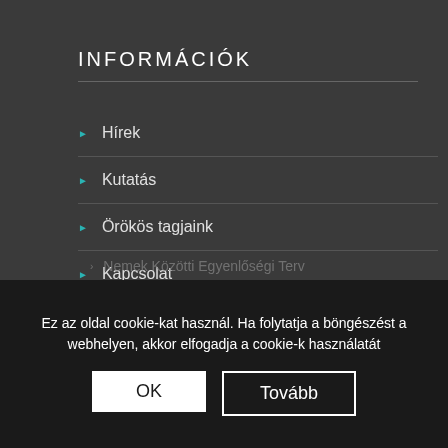INFORMÁCIÓK
Hírek
Kutatás
Örökös tagjaink
Kapcsolat
közadat.hu
Nemek Közötti Egyenlőségi Terv
Könyvtár
Ez az oldal cookie-kat használ. Ha folytatja a böngészést a webhelyen, akkor elfogadja a cookie-k használatát
OK
Tovább